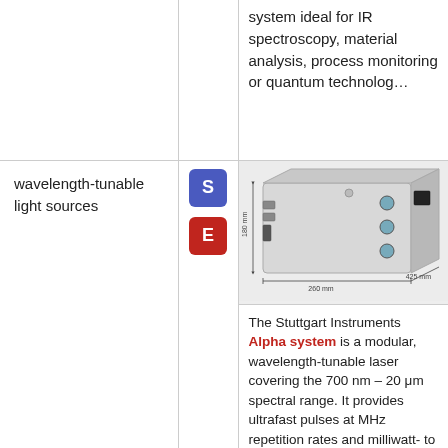system ideal for IR spectroscopy, material analysis, process monitoring or quantum technolog…
wavelength-tunable light sources
[Figure (photo): Photo of Stuttgart Instruments Alpha system laser device, a rectangular silver/grey box with connectors and ports. Dimension labels show 180 mm height, 260 mm width, 425 mm depth.]
The Stuttgart Instruments Alpha system is a modular, wavelength-tunable laser covering the 700 nm – 20 μm spectral range. It provides ultrafast pulses at MHz repetition rates and milliwatt- to watt-level power. Due to its excellent passive long-term stability, outstanding performance at the shot-noise lim…